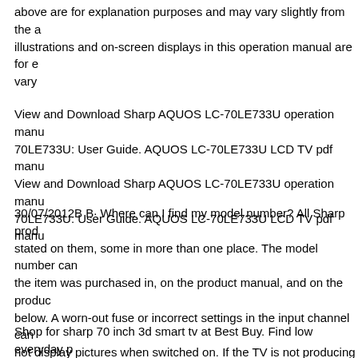above are for explanation purposes and may vary slightly from the actual product. The illustrations and on-screen displays in this operation manual are for explanation only and may vary
View and Download Sharp AQUOS LC-70LE733U operation manual online. AQUOS LC-70LE733U: User Guide. AQUOS LC-70LE733U LCD TV pdf manual ... View and Download Sharp AQUOS LC-70LE733U operation manual online. AQUOS LC-70LE733U: User Guide. AQUOS LC-70LE733U LCD TV pdf manu...
30/07/2012B B· Where can I find my model number? All Sharp products have the model number stated on them, some in more than one place. The model number can be found on the box the item was purchased in, on the product manual, and on the product... See more below. A worn-out fuse or incorrect settings in the input channel can cause a TV to not display pictures when switched on. If the TV is not producing sound, it can be due to a lack of power supply or the mute button being activated. Resetting th...
Shop for sharp 70 inch 3d smart tv at Best Buy. Find low everyday prices and buy online for delivery or in-store pick-up Part Names ENG 1-2 Remote Control Unit [5] POWER: Press to power on or enter standby. 2 TV, STB, DVDвҢÿVCR, AUDIO: Swit...